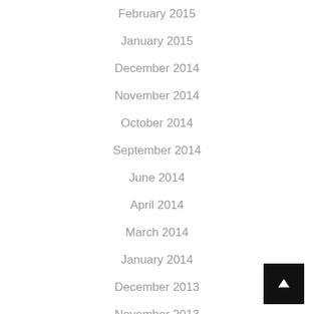February 2015
January 2015
December 2014
November 2014
October 2014
September 2014
June 2014
April 2014
March 2014
January 2014
December 2013
November 2013
October 2013